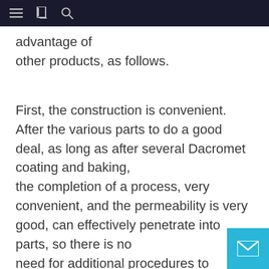[navigation bar with menu, book, and search icons]
advantage of other products, as follows.
First, the construction is convenient. After the various parts to do a good deal, as long as after several Dacromet coating and baking, the completion of a process, very convenient, and the permeability is very good, can effectively penetrate into parts, so there is no need for additional procedures to special treatment in the face.